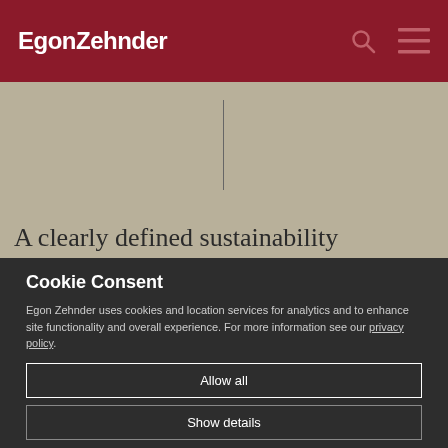EgonZehnder
A clearly defined sustainability is often missing
Cookie Consent
Egon Zehnder uses cookies and location services for analytics and to enhance site functionality and overall experience. For more information see our privacy policy.
Allow all
Show details